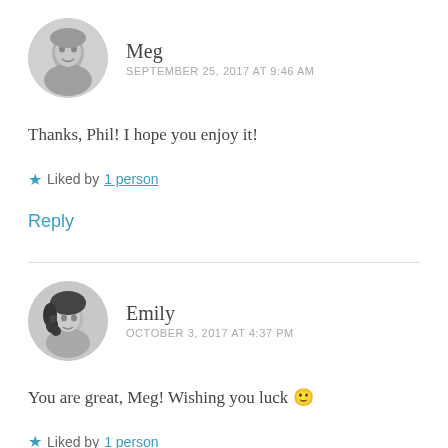Meg
SEPTEMBER 25, 2017 AT 9:46 AM
Thanks, Phil! I hope you enjoy it!
★ Liked by 1 person
Reply
Emily
OCTOBER 3, 2017 AT 4:37 PM
You are great, Meg! Wishing you luck 🙂
★ Liked by 1 person